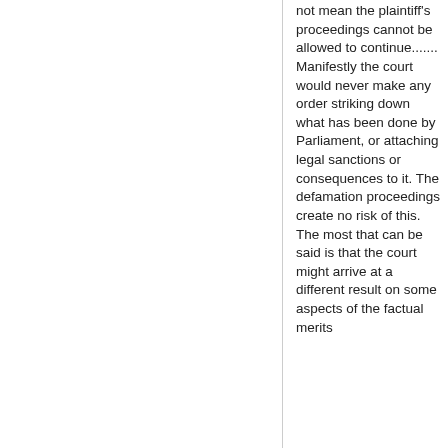not mean the plaintiff's proceedings cannot be allowed to continue....... Manifestly the court would never make any order striking down what has been done by Parliament, or attaching legal sanctions or consequences to it. The defamation proceedings create no risk of this. The most that can be said is that the court might arrive at a different result on some aspects of the factual merits